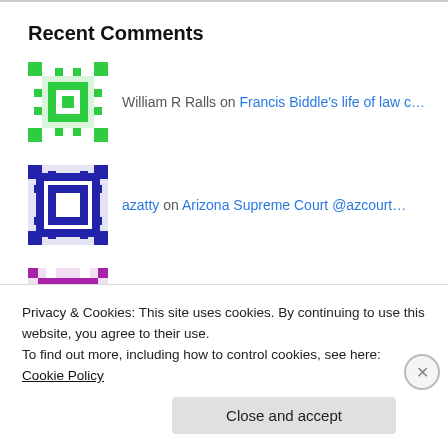Recent Comments
William R Ralls on Francis Biddle’s life of law c…
azatty on Arizona Supreme Court @azcourt…
M N on Arizona Supreme Court @azcourt…
azatty on What Arizona lawyers and judge…
Privacy & Cookies: This site uses cookies. By continuing to use this website, you agree to their use.
To find out more, including how to control cookies, see here: Cookie Policy